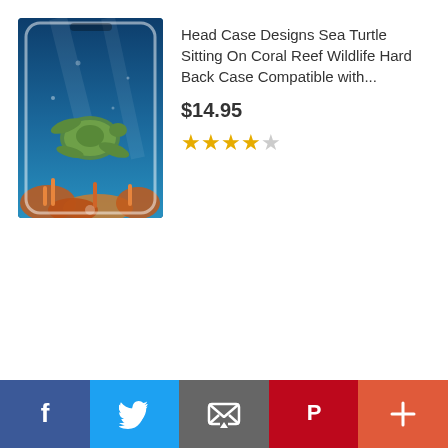[Figure (photo): Amazon product ad showing a phone case with sea turtle design and coral reef, displayed on an iPhone. Product title: Head Case Designs Sea Turtle Sitting On Coral Reef Wildlife Hard Back Case Compatible with... Price: $14.95, Rating: 3.5 out of 5 stars. 'Ads by Amazon' label.]
Filed Under: Food
Esther Lewis-Bernard, Ragin' Cajun Locals, Sazerac, Abe, Mary, Tex-Orleans, Acadian, BB, Brennan, Tito, Drake Leonards, Tex-Orleans BB, Brooks Bassler, ..., b & b cajun food, jimmy g's cajun food, z cajun foods, cajun food denver, cajun restaurants in houston, cajun 12 days of christmas, ragin cajun houston menu, cajun restaurants
[Figure (other): Social sharing bar with Facebook, Twitter, Email, Pinterest, and More (+) buttons]